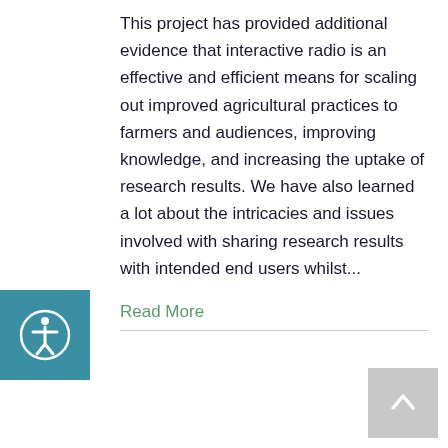This project has provided additional evidence that interactive radio is an effective and efficient means for scaling out improved agricultural practices to farmers and audiences, improving knowledge, and increasing the uptake of research results. We have also learned a lot about the intricacies and issues involved with sharing research results with intended end users whilst...
Read More